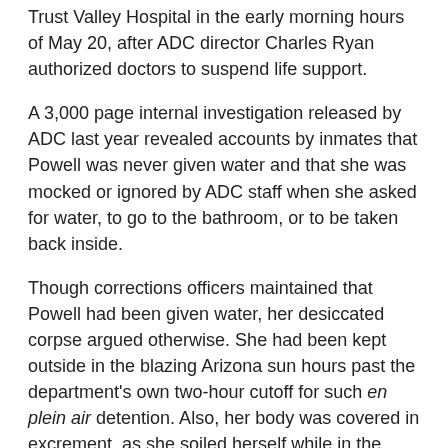Trust Valley Hospital in the early morning hours of May 20, after ADC director Charles Ryan authorized doctors to suspend life support.
A 3,000 page internal investigation released by ADC last year revealed accounts by inmates that Powell was never given water and that she was mocked or ignored by ADC staff when she asked for water, to go to the bathroom, or to be taken back inside.
Though corrections officers maintained that Powell had been given water, her desiccated corpse argued otherwise. She had been kept outside in the blazing Arizona sun hours past the department's own two-hour cutoff for such en plein air detention. Also, her body was covered in excrement, as she soiled herself while in the enclosure.
But according to ADC spokesman Barrett Marson, the County Attorney's office never reviewed the 3,000 page report released last year. Instead, the CA received a copy of ADC's separate, criminal investigation, which Marson characterized as "even more voluminous."
Based on that criminal investigation, the CA's office